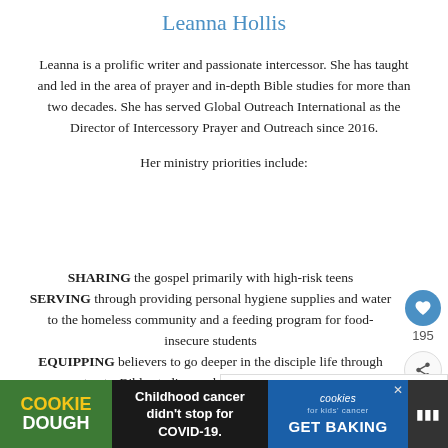Leanna Hollis
Leanna is a prolific writer and passionate intercessor. She has taught and led in the area of prayer and in-depth Bible studies for more than two decades. She has served Global Outreach International as the Director of Intercessory Prayer and Outreach since 2016.
Her ministry priorities include:
SHARING the gospel primarily with high-risk teens
SERVING through providing personal hygiene supplies and water to the homeless community and a feeding program for food-insecure students
EQUIPPING believers to go deeper in the disciple life through retreats, Bible studies, and one-on-one disciplining
SUPPORTING missionaries through prayer, encouragement and connecting senior adults in long-term care facilities with missionaries in the field as prayer
[Figure (other): Advertisement bar at bottom: Cookie Dough ad with text 'Childhood cancer didn't stop for COVID-19.' and cookies for kids cancer GET BAKING]